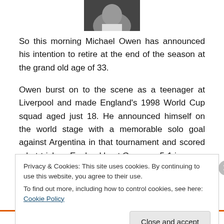[Figure (photo): Partial photo of a person, cropped showing chin/smile area, dark background]
So this morning Michael Owen has announced his intention to retire at the end of the season at the grand old age of 33.
Owen burst on to the scene as a teenager at Liverpool and made England's 1998 World Cup squad aged just 18. He announced himself on the world stage with a memorable solo goal against Argentina in that tournament and scored a hat-trick as England beat Germany 5-1 in
Privacy & Cookies: This site uses cookies. By continuing to use this website, you agree to their use.
To find out more, including how to control cookies, see here: Cookie Policy
Close and accept